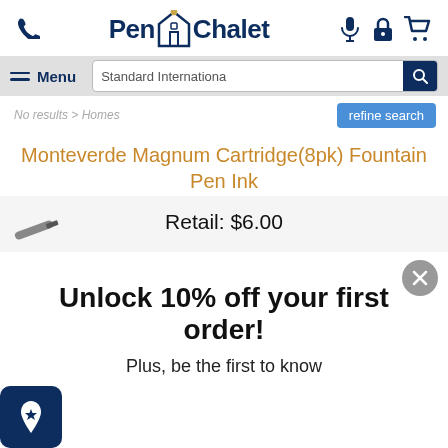Pen Chalet — header with logo, phone, mic, lock, cart icons
Menu | Standard Internationa [search] [search button]
refine search
Monteverde Magnum Cartridge(8pk) Fountain Pen Ink
Retail: $6.00
Unlock 10% off your first order!
Plus, be the first to know